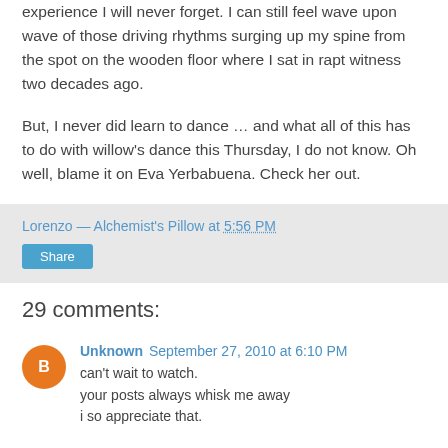experience I will never forget. I can still feel wave upon wave of those driving rhythms surging up my spine from the spot on the wooden floor where I sat in rapt witness two decades ago.
But, I never did learn to dance … and what all of this has to do with willow's dance this Thursday, I do not know. Oh well, blame it on Eva Yerbabuena. Check her out.
Lorenzo — Alchemist's Pillow at 5:56 PM
Share
29 comments:
Unknown September 27, 2010 at 6:10 PM
can't wait to watch.
your posts always whisk me away
i so appreciate that.